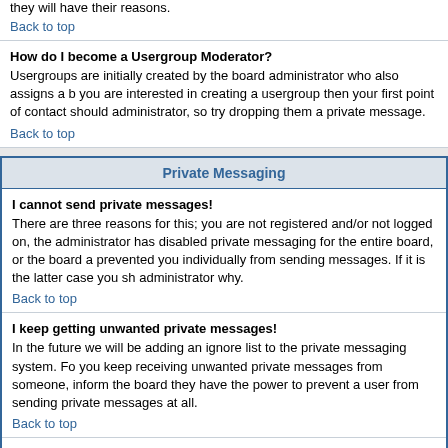they will have their reasons.
Back to top
How do I become a Usergroup Moderator?
Usergroups are initially created by the board administrator who also assigns a b you are interested in creating a usergroup then your first point of contact should administrator, so try dropping them a private message.
Back to top
Private Messaging
I cannot send private messages!
There are three reasons for this; you are not registered and/or not logged on, the administrator has disabled private messaging for the entire board, or the board a prevented you individually from sending messages. If it is the latter case you sh administrator why.
Back to top
I keep getting unwanted private messages!
In the future we will be adding an ignore list to the private messaging system. Fo you keep receiving unwanted private messages from someone, inform the boar they have the power to prevent a user from sending private messages at all.
Back to top